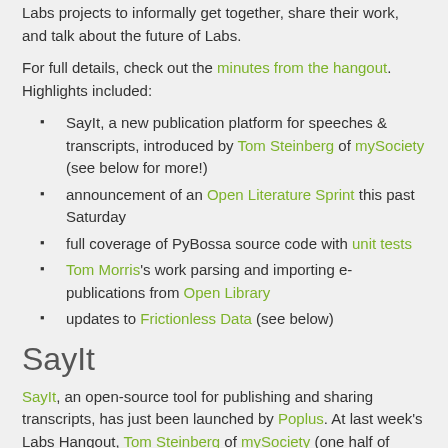Labs projects to informally get together, share their work, and talk about the future of Labs.
For full details, check out the minutes from the hangout. Highlights included:
SayIt, a new publication platform for speeches & transcripts, introduced by Tom Steinberg of mySociety (see below for more!)
announcement of an Open Literature Sprint this past Saturday
full coverage of PyBossa source code with unit tests
Tom Morris's work parsing and importing e-publications from Open Library
updates to Frictionless Data (see below)
SayIt
SayIt, an open-source tool for publishing and sharing transcripts, has just been launched by Poplus. At last week's Labs Hangout, Tom Steinberg of mySociety (one half of Poplus, alongside